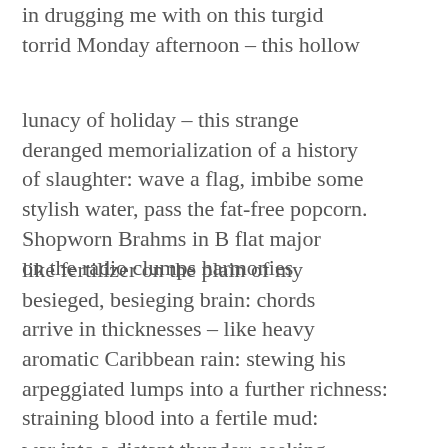in drugging me with on this turgid torrid Monday afternoon – this hollow
lunacy of holiday – this strange deranged memorialization of a history of slaughter: wave a flag, imbibe some stylish water, pass the fat-free popcorn. Shopworn Brahms in B flat major on the radio clumps harmonies
like fertilizer on the plain of my besieged, besieging brain: chords arrive in thicknesses – like heavy aromatic Caribbean rain: stewing his arpeggiated lumps into a further richness: straining blood into a fertile mud:
war into a distant thunder: seeking to extract some wonder from its blunder. Maybe constitutes an answer to this charmless country's propagating fears. Defending war and praising